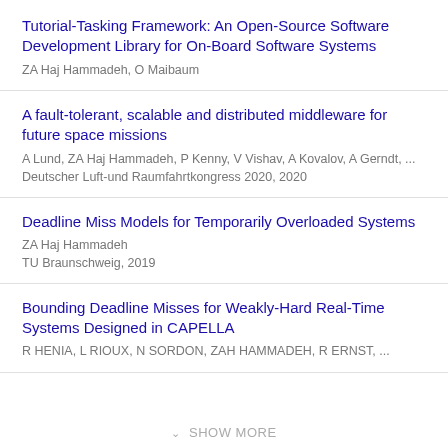Tutorial-Tasking Framework: An Open-Source Software Development Library for On-Board Software Systems
ZA Haj Hammadeh, O Maibaum
A fault-tolerant, scalable and distributed middleware for future space missions
A Lund, ZA Haj Hammadeh, P Kenny, V Vishav, A Kovalov, A Gerndt, ...
Deutscher Luft-und Raumfahrtkongress 2020, 2020
Deadline Miss Models for Temporarily Overloaded Systems
ZA Haj Hammadeh
TU Braunschweig, 2019
Bounding Deadline Misses for Weakly-Hard Real-Time Systems Designed in CAPELLA
R HENIA, L RIOUX, N SORDON, ZAH HAMMADEH, R ERNST, ...
SHOW MORE